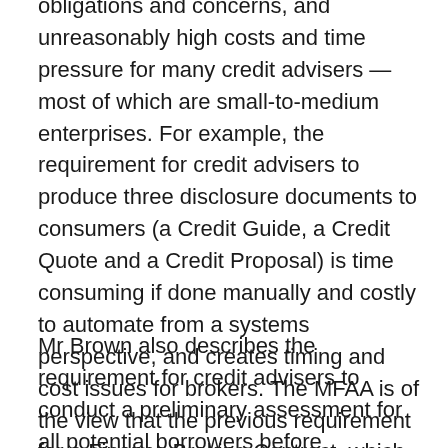obligations and concerns, and unreasonably high costs and time pressure for many credit advisers — most of which are small-to-medium enterprises. For example, the requirement for credit advisers to produce three disclosure documents to consumers (a Credit Guide, a Credit Quote and a Credit Proposal) is time consuming if done manually and costly to automate from a systems perspective, and creates timing and cost issues for brokers. The MFAA is of the view that the previous requirement for a Finance Broking Contract, which combined all essential elements in the current NCCP Act disclosure regime, worked well.
Mr Brown also describes the requirement for credit advisers to conduct a preliminary assessment for all potential borrowers before recommending finance, when the lender then has to carry out their own